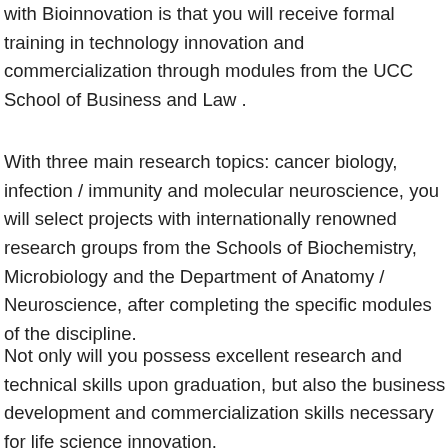with Bioinnovation is that you will receive formal training in technology innovation and commercialization through modules from the UCC School of Business and Law .
With three main research topics: cancer biology, infection / immunity and molecular neuroscience, you will select projects with internationally renowned research groups from the Schools of Biochemistry, Microbiology and the Department of Anatomy / Neuroscience, after completing the specific modules of the discipline.
Not only will you possess excellent research and technical skills upon graduation, but also the business development and commercialization skills necessary for life science innovation.